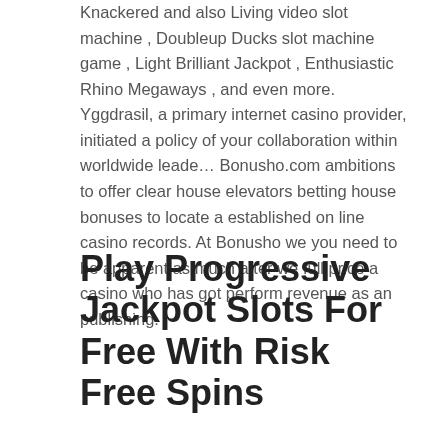Knackered and also Living video slot machine , Doubleup Ducks slot machine game , Light Brilliant Jackpot , Enthusiastic Rhino Megaways , and even more. Yggdrasil, a primary internet casino provider, initiated a policy of your collaboration within worldwide leade… Bonusho.com ambitions to offer clear house elevators betting house bonuses to locate a established on line casino records. At Bonusho we you need to be apparent as much after we full price a casino who has got perform revenue as an publishing.
Play Progressive Jackpot Slots For Free With Risk Free Spins